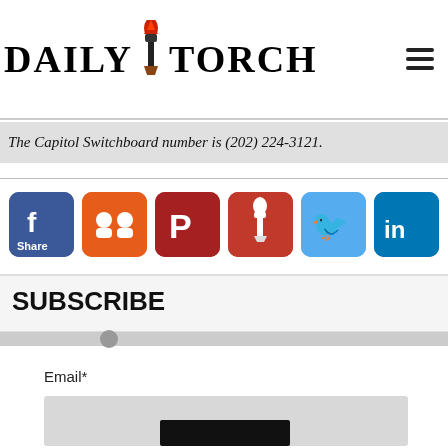[Figure (logo): Daily Torch logo with torch icon between DAILY and TORCH text]
The Capitol Switchboard number is (202) 224-3121.
[Figure (infographic): Social sharing buttons: Facebook Share, chat/group, Parler, Daily Torch, Twitter, LinkedIn]
SUBSCRIBE
Email*
[Figure (screenshot): Email input field and partial submit button]